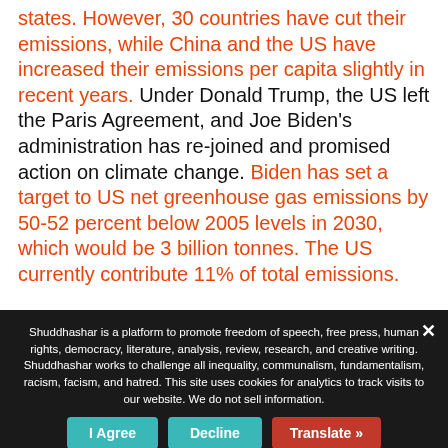states. However, 30 countries have cut their emissions, while China and the US have increased their emissions per capita slightly in recent years. Under Donald Trump, the US left the Paris Agreement, and Joe Biden's administration has re-joined and promised action on climate change. Biden has set a target to US net greenhouse gas emissions by 50-52 percent below 2005 levels in 2030, which would be 3 billion tonnes. The US currently contribute 11% of total emissions.
Shuddhashar is a platform to promote freedom of speech, free press, human rights, democracy, literature, analysis, review, research, and creative writing. Shuddhashar works to challenge all inequality, communalism, fundamentalism, racism, facism, and hatred. This site uses cookies for analytics to track visits to our website. We do not sell information.